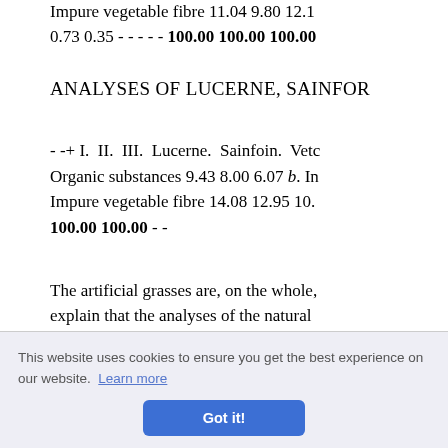Impure vegetable fibre 11.04 9.80 12.1... 0.73 0.35 - - - - - 100.00 100.00 100.00
ANALYSES OF LUCERNE, SAINFOIN...
- -+ I. II. III. Lucerne. Sainfoin. Vetch... Organic substances 9.43 8.00 6.07 b. Inorganic... Impure vegetable fibre 14.08 12.95 10.... 100.00 100.00 - -
The artificial grasses are, on the whole, ... explain that the analyses of the natural... what may be almost termed their wild... irrigated or top-dressed with abundance... grasses, a... when yo... s to great... the Trefo... stituents... the Continent, and are the only kind o...
This website uses cookies to ensure you get the best experience on our website. Learn more Got it!